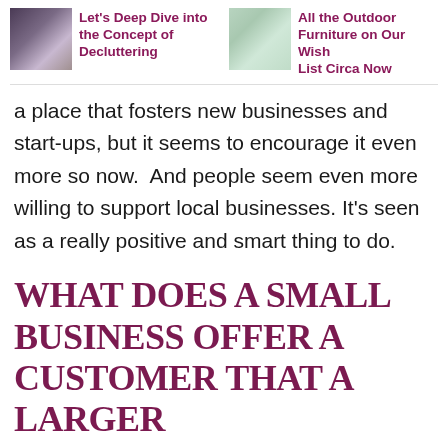[Figure (photo): Thumbnail image related to decluttering concept]
Let's Deep Dive into the Concept of Decluttering
[Figure (photo): Thumbnail image related to outdoor furniture]
All the Outdoor Furniture on Our Wish List Circa Now
a place that fosters new businesses and start-ups, but it seems to encourage it even more so now.  And people seem even more willing to support local businesses. It's seen as a really positive and smart thing to do.
WHAT DOES A SMALL BUSINESS OFFER A CUSTOMER THAT A LARGER BRAND CAN'T?